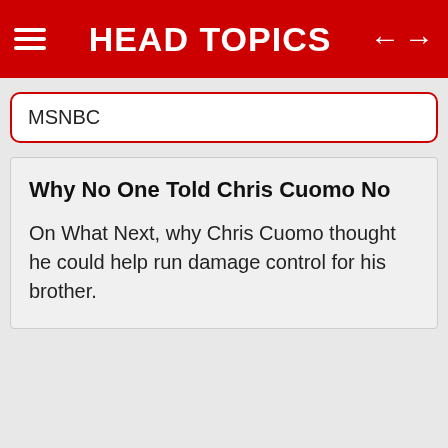HEAD TOPICS
MSNBC
Why No One Told Chris Cuomo No
On What Next, why Chris Cuomo thought he could help run damage control for his brother.